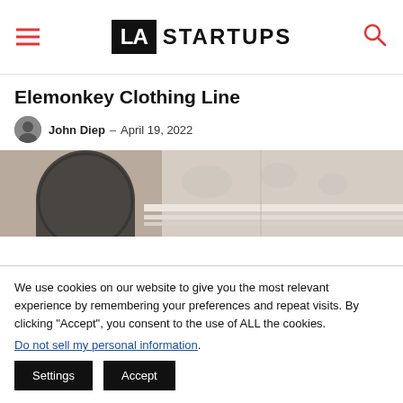LA STARTUPS
Elemonkey Clothing Line
John Diep  -  April 19, 2022
[Figure (photo): Architectural detail photo showing ornate building facade with arched doorway and decorative moldings, in sepia/monochrome tones]
We use cookies on our website to give you the most relevant experience by remembering your preferences and repeat visits. By clicking “Accept”, you consent to the use of ALL the cookies.
Do not sell my personal information.
Settings  Accept